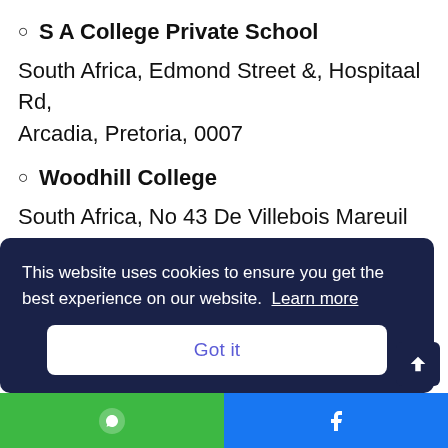S A College Private School
South Africa, Edmond Street &, Hospitaal Rd, Arcadia, Pretoria, 0007
Woodhill College
South Africa, No 43 De Villebois Mareuil Dr, Woodhill Golf Estate, Pretoria, 0043
Lynnwood Ridge Primary School
This website uses cookies to ensure you get the best experience on our website. Learn more